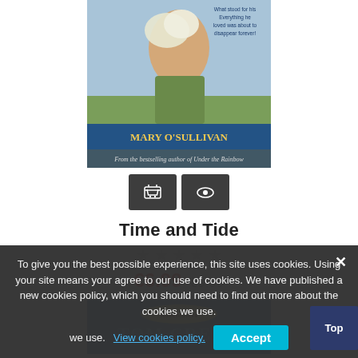[Figure (photo): Book cover for 'Time and Tide' by Mary O'Sullivan showing a woman holding flowers, from the bestselling author of Under the Rainbow]
[Figure (screenshot): Two dark buttons: a shopping cart icon button and an eye/view icon button]
Time and Tide
★ ★ ★ ★ ★ (empty stars, grey)
€6.99  €9.99
[Figure (photo): Partial view of a second book cover featuring 'Tom Crean' with a blue background and 'Adventurers' series label]
To give you the best possible experience, this site uses cookies. Using your site means your agree to our use of cookies. We have published a new cookies policy, which you should need to find out more about the cookies we use. View cookies policy. Accept